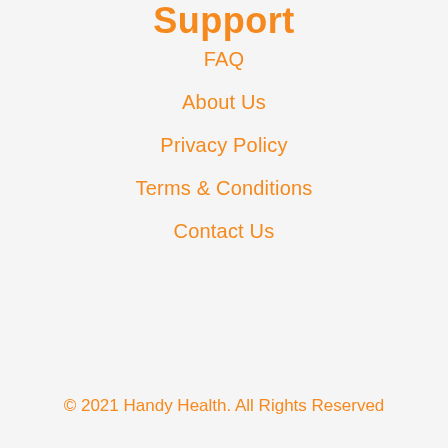Support
FAQ
About Us
Privacy Policy
Terms & Conditions
Contact Us
© 2021 Handy Health. All Rights Reserved